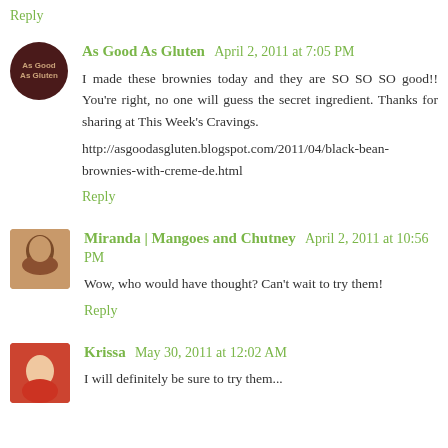Reply
As Good As Gluten  April 2, 2011 at 7:05 PM
I made these brownies today and they are SO SO SO good!! You're right, no one will guess the secret ingredient. Thanks for sharing at This Week's Cravings.

http://asgoodasgluten.blogspot.com/2011/04/black-bean-brownies-with-creme-de.html
Reply
Miranda | Mangoes and Chutney  April 2, 2011 at 10:56 PM
Wow, who would have thought? Can't wait to try them!
Reply
Krissa  May 30, 2011 at 12:02 AM
I will definitely be sure to try them — reassurance that black...